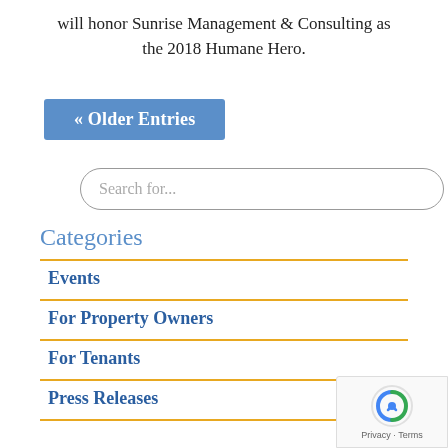will honor Sunrise Management & Consulting as the 2018 Humane Hero.
« Older Entries
Search for...
Categories
Events
For Property Owners
For Tenants
Press Releases